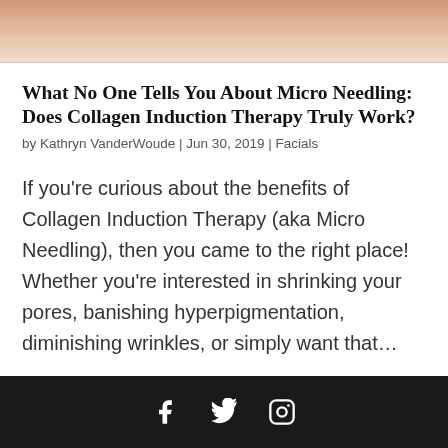[Figure (photo): Close-up photo of skin, showing beige/tan toned skin surface — partial crop at top of page.]
What No One Tells You About Micro Needling: Does Collagen Induction Therapy Truly Work?
by Kathryn VanderWoude | Jun 30, 2019 | Facials
If you're curious about the benefits of Collagen Induction Therapy (aka Micro Needling), then you came to the right place! Whether you're interested in shrinking your pores, banishing hyperpigmentation, diminishing wrinkles, or simply want that...
Social media icons: Facebook, Twitter, Instagram